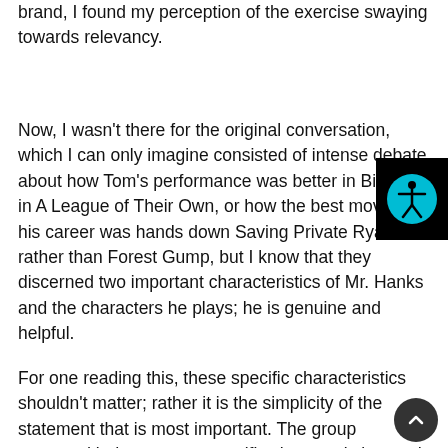brand, I found my perception of the exercise swaying towards relevancy.
Now, I wasn't there for the original conversation, which I can only imagine consisted of intense debate about how Tom's performance was better in Big than in A League of Their Own, or how the best movie of his career was hands down Saving Private Ryan rather than Forest Gump, but I know that they discerned two important characteristics of Mr. Hanks and the characters he plays; he is genuine and helpful.
For one reading this, these specific characteristics shouldn't matter; rather it is the simplicity of the statement that is most important. The group narrowed it down to two specific characteristics, and like any
[Figure (other): Accessibility widget button with teal/cyan circle icon showing a person figure, on a black square background, positioned in the top-right corner of the page.]